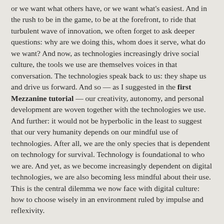or we want what others have, or we want what's easiest. And in the rush to be in the game, to be at the forefront, to ride that turbulent wave of innovation, we often forget to ask deeper questions: why are we doing this, whom does it serve, what do we want? And now, as technologies increasingly drive social culture, the tools we use are themselves voices in that conversation. The technologies speak back to us: they shape us and drive us forward. And so — as I suggested in the first Mezzanine tutorial — our creativity, autonomy, and personal development are woven together with the technologies we use. And further: it would not be hyperbolic in the least to suggest that our very humanity depends on our mindful use of technologies. After all, we are the only species that is dependent on technology for survival. Technology is foundational to who we are. And yet, as we become increasingly dependent on digital technologies, we are also becoming less mindful about their use. This is the central dilemma we now face with digital culture: how to choose wisely in an environment ruled by impulse and reflexivity.
This tutorial continues the theme of mindful and intentional use of technology by exploring the steps required to create a first project with Mezzanine. In the previous tutorial we prepared our digital environment; here we populate that environment and bring it online. As before, the steps and procedures outlined